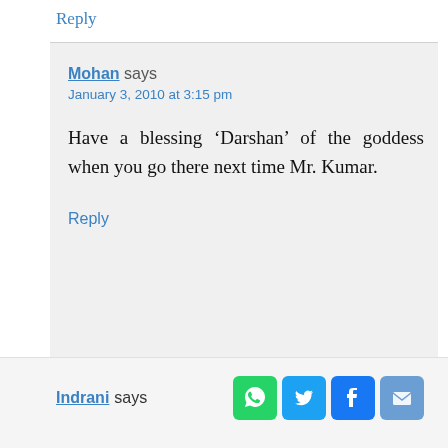Reply
Mohan says
January 3, 2010 at 3:15 pm
Have a blessing ‘Darshan’ of the goddess when you go there next time Mr. Kumar.
Reply
Indrani says